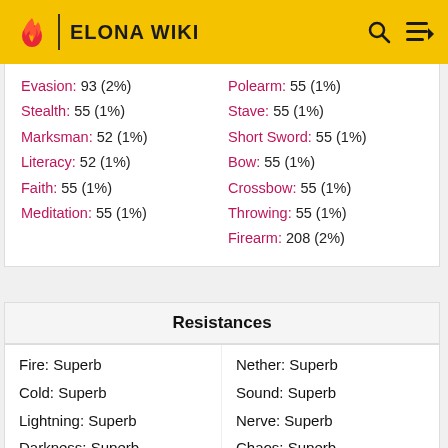ELONA WIKI
| Skill (Left) | Skill (Right) |
| --- | --- |
| Evasion: 93 (2%) | Polearm: 55 (1%) |
| Stealth: 55 (1%) | Stave: 55 (1%) |
| Marksman: 52 (1%) | Short Sword: 55 (1%) |
| Literacy: 52 (1%) | Bow: 55 (1%) |
| Faith: 55 (1%) | Crossbow: 55 (1%) |
| Meditation: 55 (1%) | Throwing: 55 (1%) |
|  | Firearm: 208 (2%) |
Resistances
| Resistance (Left) | Resistance (Right) |
| --- | --- |
| Fire: Superb | Nether: Superb |
| Cold: Superb | Sound: Superb |
| Lightning: Superb | Nerve: Superb |
| Darkness: Superb | Chaos: Superb |